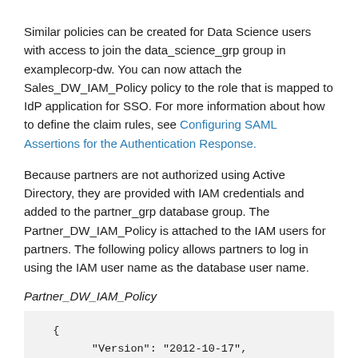Similar policies can be created for Data Science users with access to join the data_science_grp group in examplecorp-dw. You can now attach the Sales_DW_IAM_Policy policy to the role that is mapped to IdP application for SSO. For more information about how to define the claim rules, see Configuring SAML Assertions for the Authentication Response.
Because partners are not authorized using Active Directory, they are provided with IAM credentials and added to the partner_grp database group. The Partner_DW_IAM_Policy is attached to the IAM users for partners. The following policy allows partners to log in using the IAM user name as the database user name.
Partner_DW_IAM_Policy
{
    "Version": "2012-10-17",
    "Statement": [
        {